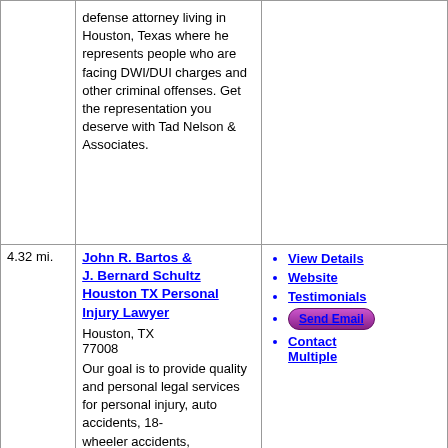defense attorney living in Houston, Texas where he represents people who are facing DWI/DUI charges and other criminal offenses. Get the representation you deserve with Tad Nelson & Associates.
4.32 mi.
John R. Bartos & J. Bernard Schultz Houston TX Personal Injury Lawyer
Houston, TX 77008
Our goal is to provide quality and personal legal services for personal injury, auto accidents, 18-
View Details
Website
Testimonials
Send Email
Contact Multiple